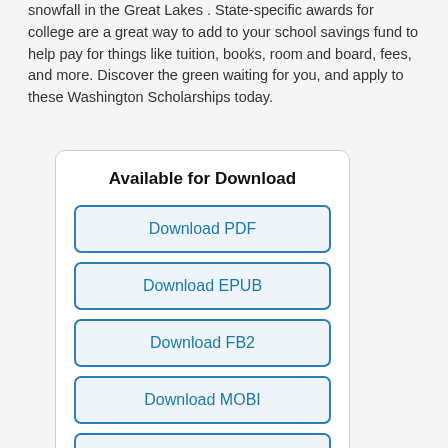snowfall in the Great Lakes . State-specific awards for college are a great way to add to your school savings fund to help pay for things like tuition, books, room and board, fees, and more. Discover the green waiting for you, and apply to these Washington Scholarships today.
Available for Download
Download PDF
Download EPUB
Download FB2
Download MOBI
Download TXT
Share this book
[Figure (infographic): Four social sharing icon circles: Facebook (blue), Twitter (teal), Pinterest (red), Telegram (light blue)]